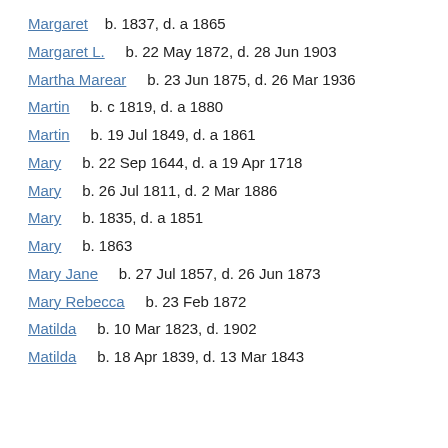Margaret   b. 1837, d. a 1865
Margaret L.    b. 22 May 1872, d. 28 Jun 1903
Martha Marear    b. 23 Jun 1875, d. 26 Mar 1936
Martin    b. c 1819, d. a 1880
Martin    b. 19 Jul 1849, d. a 1861
Mary    b. 22 Sep 1644, d. a 19 Apr 1718
Mary    b. 26 Jul 1811, d. 2 Mar 1886
Mary    b. 1835, d. a 1851
Mary    b. 1863
Mary Jane    b. 27 Jul 1857, d. 26 Jun 1873
Mary Rebecca    b. 23 Feb 1872
Matilda    b. 10 Mar 1823, d. 1902
Matilda    b. 18 Apr 1839, d. 13 Mar 1843